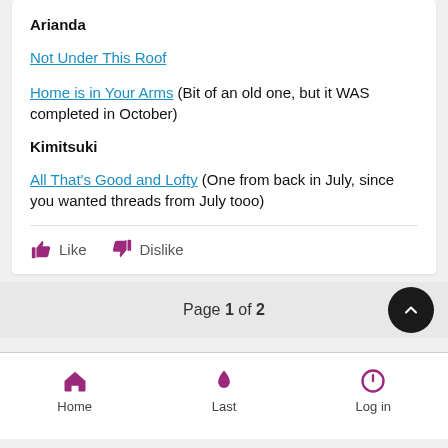Arianda
Not Under This Roof
Home is in Your Arms (Bit of an old one, but it WAS completed in October)
Kimitsuki
All That's Good and Lofty (One from back in July, since you wanted threads from July tooo)
Like  Dislike
Page 1 of 2
Home  Last  Log in